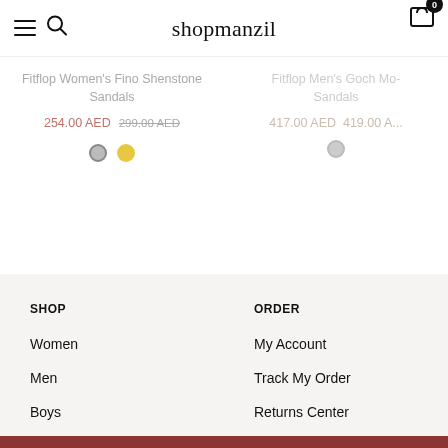shopmanzil
Fitflop Women's Fino Shenstone Sandals
254.00 AED  299.00 AED
Fitflop Men's Gogh Moc Sandals
417.00 AED
SHOP
Women
Men
Boys
Accessories
ORDER
My Account
Track My Order
Returns Center
Help Center
ADD TO CART